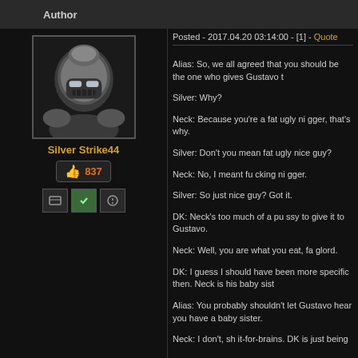Author
Silver Strike44
837
Posted - 2017.04.20 03:14:00 - [1] - Quote
Alias: So, we all agreed that you should be the one who gives Gustavo t
Silver: Why?
Neck: Because you're a fat ugly ni gger, that's why.
Silver: Don't you mean fat ugly nice guy?
Neck: No, I meant fu cking ni gger.
Silver: So just nice guy? Got it.
DK: Neck's too much of a pu ssy to give it to Gustavo.
Neck: Well, you are what you eat, fa glord.
DK: I guess I should have been more specific then. Neck is his baby sist
Alias: You probably shouldn't let Gustavo hear you have a baby sister.
Neck: I don't, sh it-for-brains. DK is just being a total qu eer.
DK: So you don't have a little sister anymore? As in she's dead and you
Neck.
Neck: Shut the fu ck up, you fa g-fu ck.
DK: Neck, you're just mad that I killed your mother and ra ped your fathe
Neck: What?! What the fu ck did you just say to me?! Are you fu cking ki
DK: Actually, your dad's the one I fu cked, not your mom. I just put your m
wasn't the one who sucked co ck, your dad's a ss sucked mine.
Neck: Oh, so you're admitting your a fa g? OK then.
DK: Only if you admit that I dominated your dad.
Neck: I don't have a dad, you stupid fu ck-ni gger!
DK: Not after I was finished with him. He was as good as your mom was
that did it all. No wonder you hate them.
Neck: No, I hate them because they're fu cking NI GGERS! And you don
DK: A baby di ck is all it took to kill your dad? Pretty weak if you ask me.
Neck: Whatever, fa g. My dad could beat the living sh it out of your dad.
DK: They're dead, so there really isn't any living sh it left in them, but cor
think my dad's corpse could probably take him.
Shep: What in the actual fu ck are you guys saying right now? And you f
Neck: Yeah, fu ck this sh it. I don't need any of this, I'm a handsome man
DK: Geez, Neck, if you're going to overcompensate, at least say you hav
Neck: I don't need to overcompensate, bi tch. I know what I've got is m